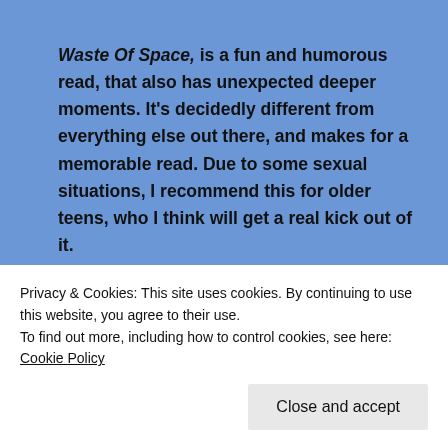Waste Of Space, is a fun and humorous read, that also has unexpected deeper moments. It's decidedly different from everything else out there, and makes for a memorable read. Due to some sexual situations, I recommend this for older teens, who I think will get a real kick out of it.
By Hook Or By Book: Book Reviews, News, & Other Stuff
Privacy & Cookies: This site uses cookies. By continuing to use this website, you agree to their use.
To find out more, including how to control cookies, see here: Cookie Policy
Close and accept